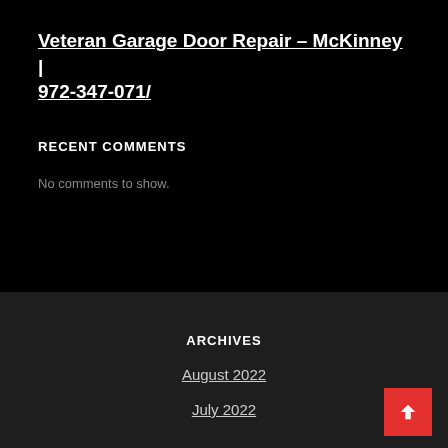Veteran Garage Door Repair – McKinney | 972-347-071/
RECENT COMMENTS
No comments to show.
ARCHIVES
August 2022
July 2022